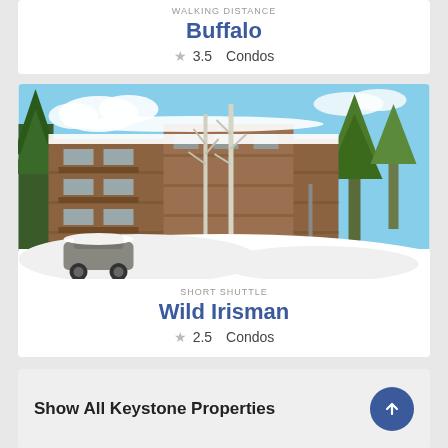WALKING DISTANCE
Buffalo
★ 3.5    Condos
[Figure (photo): Snow-covered condominium building surrounded by pine and aspen trees in a winter ski resort setting, with a car parked in front and large snow drifts.]
SHORT SHUTTLE
Wild Irisman
★ 2.5    Condos
Show All Keystone Properties